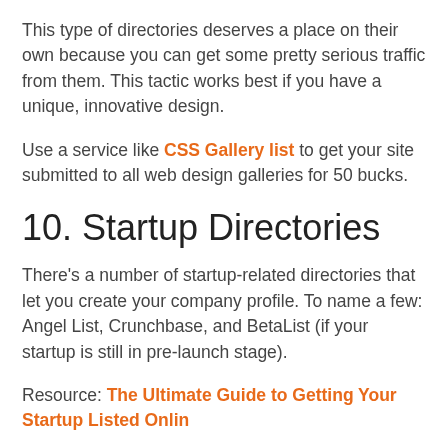This type of directories deserves a place on their own because you can get some pretty serious traffic from them. This tactic works best if you have a unique, innovative design.
Use a service like CSS Gallery list to get your site submitted to all web design galleries for 50 bucks.
10. Startup Directories
There's a number of startup-related directories that let you create your company profile. To name a few: Angel List, Crunchbase, and BetaList (if your startup is still in pre-launch stage).
Resource: The Ultimate Guide to Getting Your Startup Listed Online